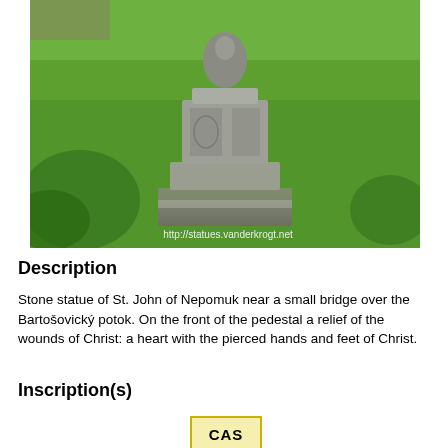[Figure (photo): Stone statue of St. John of Nepomuk on a decorative pedestal with relief carvings, set in a green grassy area. A watermark reads: http://statues.vanderkrogt.net]
Description
Stone statue of St. John of Nepomuk near a small bridge over the Bartošovický potok. On the front of the pedestal a relief of the wounds of Christ: a heart with the pierced hands and feet of Christ.
Inscription(s)
CAS